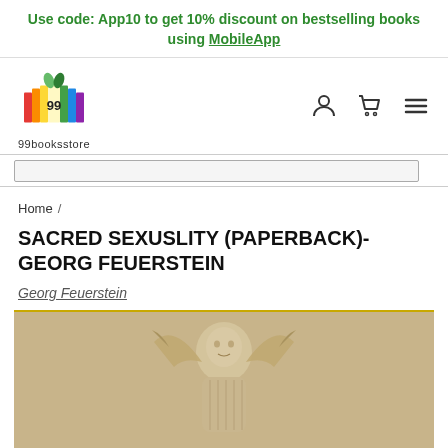Use code: App10 to get 10% discount on bestselling books using MobileApp
[Figure (logo): 99booksstore colorful book logo with open book and '99' text, multicolored pages]
Home /
SACRED SEXUSLITY (PAPERBACK)-GEORG FEUERSTEIN
Georg Feuerstein
[Figure (photo): Ancient stone relief sculpture of a figure with raised arms, beige/cream colored stone carving]